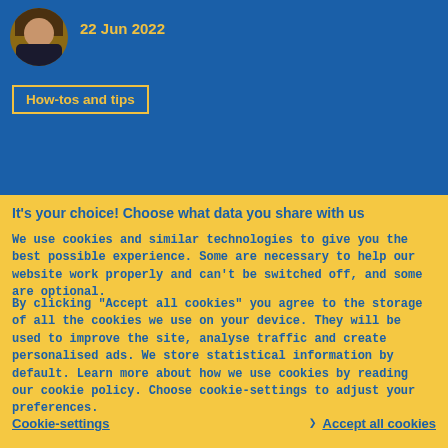[Figure (photo): Circular avatar photo of a woman with dark hair]
22 Jun 2022
How-tos and tips
It's your choice! Choose what data you share with us
We use cookies and similar technologies to give you the best possible experience. Some are necessary to help our website work properly and can't be switched off, and some are optional.
By clicking "Accept all cookies" you agree to the storage of all the cookies we use on your device. They will be used to improve the site, analyse traffic and create personalised ads. We store statistical information by default. Learn more about how we use cookies by reading our cookie policy. Choose cookie-settings to adjust your preferences.
Cookie-settings  ❯  Accept all cookies